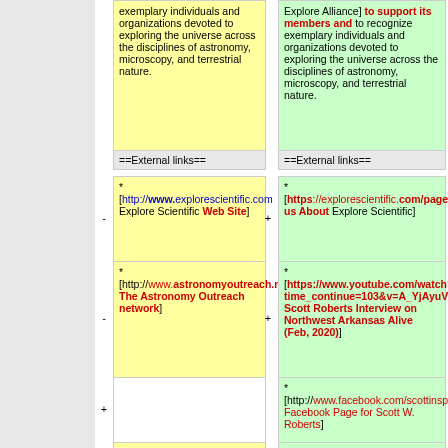exemplary individuals and organizations devoted to exploring the universe across the disciplines of astronomy, microscopy, and terrestrial nature.
Explore Alliance] to support its members and to recognize exemplary individuals and organizations devoted to exploring the universe across the disciplines of astronomy, microscopy, and terrestrial nature.
==External links==
==External links==
* [http://www.explorescientific.com Explore Scientific Web Site]
* [https://explorescientific.com/pages/about-us About Explore Scientific]
* [http://www.astronomyoutreach.net/ The Astronomy Outreach network]
* [https://www.youtube.com/watch?time_continue=103&v=A_YjAyuVRt0&feature=emb_logo Scott Roberts Interview on Northwest Arkansas Alive (Feb, 2020)]
* [http://www.facebook.com/scottinspace Facebook Page for Scott W. Roberts]
* [https://www.airstream.com/blog/airstream-to-the-stars/ Airstream to the Stars Article]
* [https://www.airstream.com/blog/airstream-to-the-stars/ Airstream to the Stars Article]